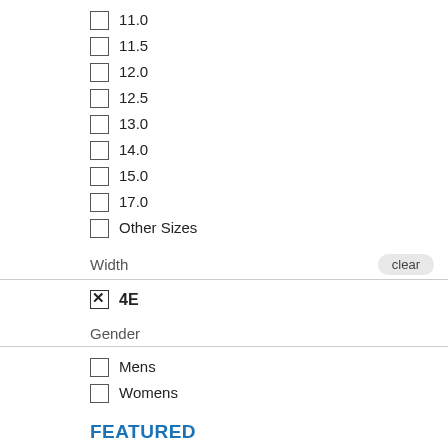11.0
11.5
12.0
12.5
13.0
14.0
15.0
17.0
Other Sizes
Width
4E (checked)
Gender
Mens
Womens
FEATURED